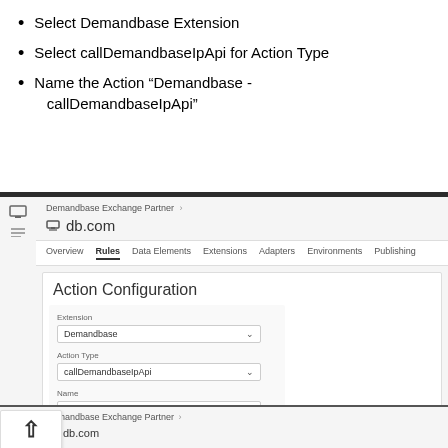Select Demandbase Extension
Select callDemandbaseIpApi for Action Type
Name the Action “Demandbase - callDemandbaseIpApi”
[Figure (screenshot): Screenshot of Adobe Launch / Tag Manager interface showing the Action Configuration panel with Extension set to Demandbase, Action Type set to callDemandbaseIpApi, and Name set to Demandbase - callDemandbaseIpApi]